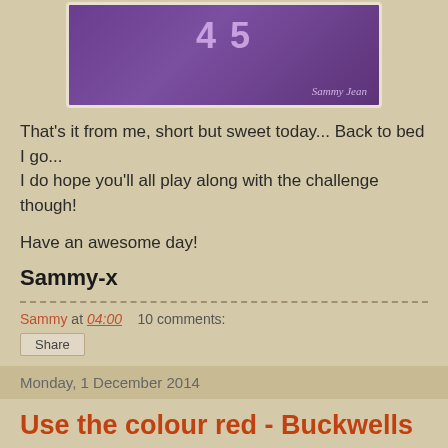[Figure (illustration): Purple decorative banner/logo image with 'Sammy Jean' script text, featuring a purple bone/scroll shape with dotted pattern and teal decorative elements]
That's it from me, short but sweet today... Back to bed I go... I do hope you'll all play along with the challenge though!
Have an awesome day!
Sammy-x
Sammy at 04:00    10 comments:
Share
Monday, 1 December 2014
Use the colour red - Buckwells Crafty Challenge DT
Good morning everyone!